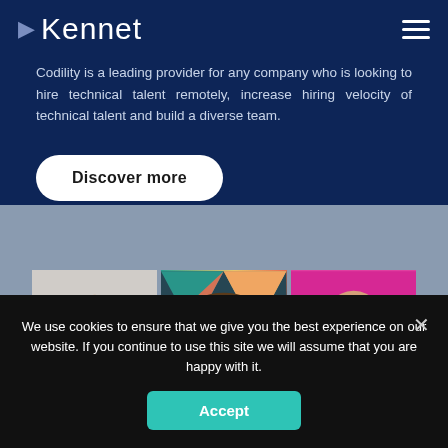Kennet
Codility is a leading provider for any company who is looking to hire technical talent remotely, increase hiring velocity of technical talent and build a diverse team.
Discover more
[Figure (photo): Three portrait photos side by side: bald man on gray background, person with colorful geometric background, bearded bald man on pink/magenta background]
We use cookies to ensure that we give you the best experience on our website. If you continue to use this site we will assume that you are happy with it.
Accept